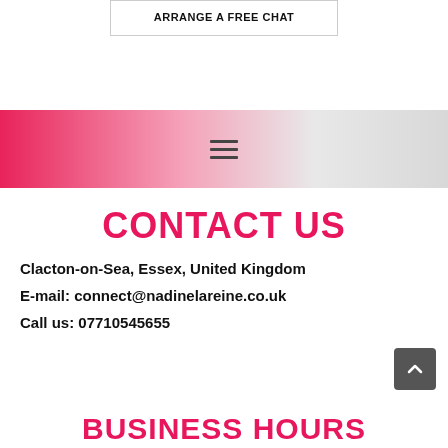ARRANGE A FREE CHAT
[Figure (other): Pink to grey gradient banner with hamburger menu icon (three horizontal lines)]
CONTACT US
Clacton-on-Sea, Essex, United Kingdom
E-mail: connect@nadinelareine.co.uk
Call us: 07710545655
[Figure (other): Dark grey back-to-top button with upward chevron arrow]
BUSINESS HOURS